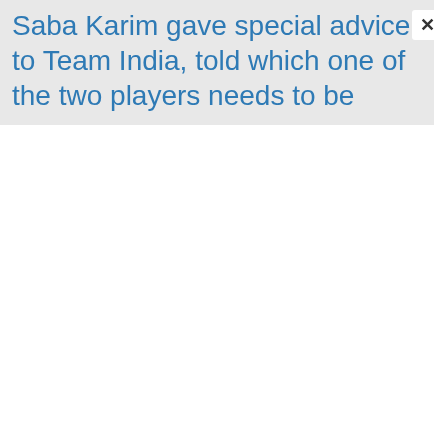Saba Karim gave special advice to Team India, told which one of the two players needs to be